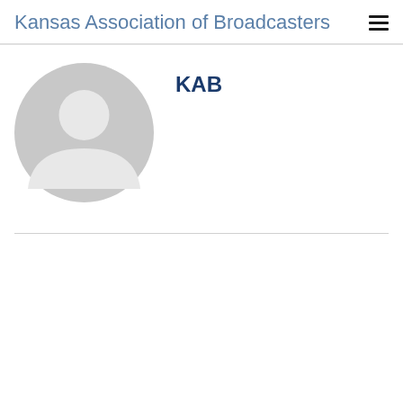Kansas Association of Broadcasters
[Figure (illustration): Default gray avatar/profile placeholder image showing a silhouette of a person with a circular background]
KAB